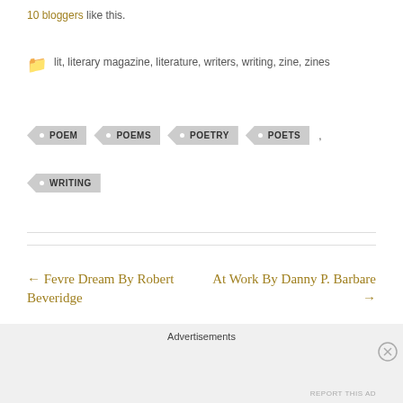10 bloggers like this.
lit, literary magazine, literature, writers, writing, zine, zines
POEM
POEMS
POETRY
POETS
WRITING
← Fevre Dream By Robert Beveridge
At Work By Danny P. Barbare →
Advertisements